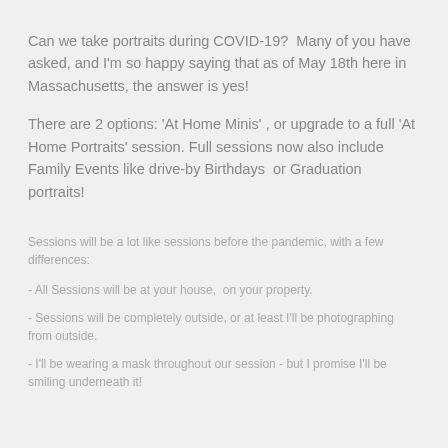Can we take portraits during COVID-19?  Many of you have asked, and I'm so happy saying that as of May 18th here in Massachusetts, the answer is yes!
There are 2 options: 'At Home Minis' , or upgrade to a full 'At Home Portraits' session. Full sessions now also include Family Events like drive-by Birthdays  or Graduation portraits!
Sessions will be a lot like sessions before the pandemic, with a few differences:
- All Sessions will be at your house,  on your property.
- Sessions will be completely outside, or at least I'll be photographing from outside.
- I'll be wearing a mask throughout our session - but I promise I'll be smiling underneath it!